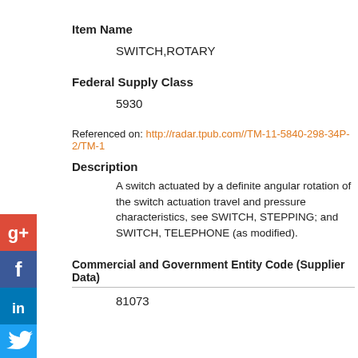Item Name
SWITCH,ROTARY
Federal Supply Class
5930
Referenced on: http://radar.tpub.com//TM-11-5840-298-34P-2/TM-1...
Description
A switch actuated by a definite angular rotation of the switch actuation travel and pressure characteristics, see SWITCH, STEPPING; and SWITCH, TELEPHONE (as modified).
Commercial and Government Entity Code (Supplier Data)
81073